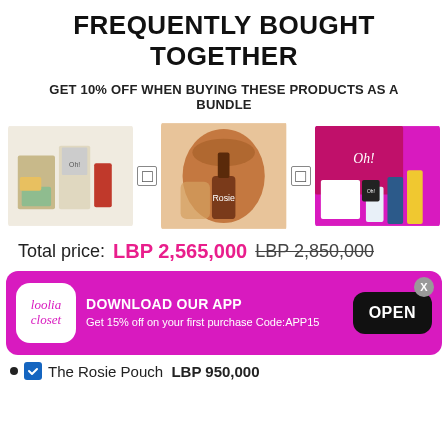FREQUENTLY BOUGHT TOGETHER
GET 10% OFF WHEN BUYING THESE PRODUCTS AS A BUNDLE
[Figure (photo): Three product bundle images: Oh! beauty gift set, Rosie Pouch (tan drawstring bag with oils), and Oh! pink box gift set with oils and mug]
Total price: LBP 2,565,000  LBP 2,850,000
[Figure (infographic): Loolia Closet app download banner (magenta background): logo, DOWNLOAD OUR APP, Get 15% off on your first purchase Code:APP15, OPEN button, X close button]
The Rosie Pouch  LBP 950,000